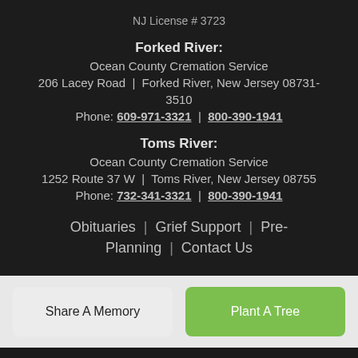NJ License # 3723
Forked River:
Ocean County Cremation Service
206 Lacey Road  |  Forked River, New Jersey 08731-3510
Phone: 609-971-3321  |  800-390-1941
Toms River:
Ocean County Cremation Service
1252 Route 37 W  |  Toms River, New Jersey 08755
Phone: 732-341-3321  |  800-390-1941
Obituaries  |  Grief Support  |  Pre-Planning  |  Contact Us
Share A Memory
Plant A Tree